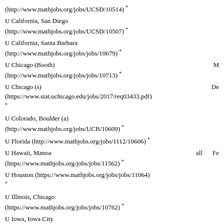(http://www.mathjobs.org/jobs/UCSD/10514) *
U California, San Diego (http://www.mathjobs.org/jobs/UCSD/10507) *
U California, Santa Barbara (http://www.mathjobs.org/jobs/jobs/10679) *
U Chicago (Booth) (http://www.mathjobs.org/jobs/jobs/10713) * M
U Chicago (s) (https://www.stat.uchicago.edu/jobs/2017/req03433.pdf) * De
U Colorado, Boulder (a) (http://www.mathjobs.org/jobs/UCB/10609) *
U Florida (http://www.mathjobs.org/jobs/1112/10606) *
U Hawaii, Manoa (https://www.mathjobs.org/jobs/jobs/11562) * all Fe
U Houston (https://www.mathjobs.org/jobs/jobs/11064) *
U Illinois, Chicago (https://www.mathjobs.org/jobs/jobs/10762) *
U Iowa, Iowa City (https://www.mathjobs.org/jobs/jobs/11194) *
U Kansas (https://www.mathjobs.org/jobs/jobs/10761) geometry